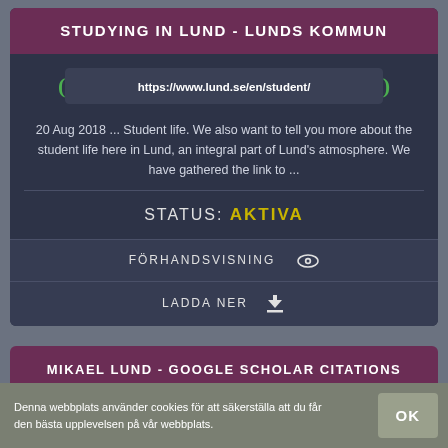STUDYING IN LUND - LUNDS KOMMUN
https://www.lund.se/en/student/
20 Aug 2018 ... Student life. We also want to tell you more about the student life here in Lund, an integral part of Lund's atmosphere. We have gathered the link to ...
STATUS: AKTIVA
FÖRHANDSVISNING
LADDA NER
MIKAEL LUND - GOOGLE SCHOLAR CITATIONS
Denna webbplats använder cookies för att säkerställa att du får den bästa upplevelsen på vår webbplats.